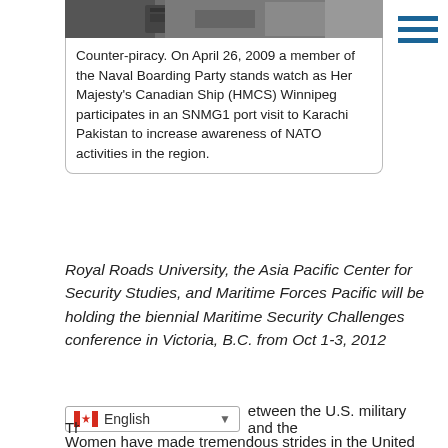[Figure (photo): Top portion of a counter-piracy image showing a Naval Boarding Party scene, partially cropped]
Counter-piracy. On April 26, 2009 a member of the Naval Boarding Party stands watch as Her Majesty's Canadian Ship (HMCS) Winnipeg participates in an SNMG1 port visit to Karachi Pakistan to increase awareness of NATO activities in the region.
Royal Roads University, the Asia Pacific Center for Security Studies, and Maritime Forces Pacific will be holding the biennial Maritime Security Challenges conference in Victoria, B.C. from Oct 1-3, 2012
Women have made tremendous strides in the United States Armed Forces; however, many still seek further equality in the realm of combat operations.
In February, the Pentagon opened up 14,000 positions for servicewomen that were previously unavailable to them, marking a milestone that will see females in roles such as intelligence officers, tank mechanics, and rocket launcher crew members.
While there are still approximately 255,000 combat-related roles that women are prohibited from participating in, the nature of modern warfare has distorted the concept of front lines, ensuring that every person deployed to a warzone, male or female, has the potential to become involved in combat.
Th... etween the U.S. military and the